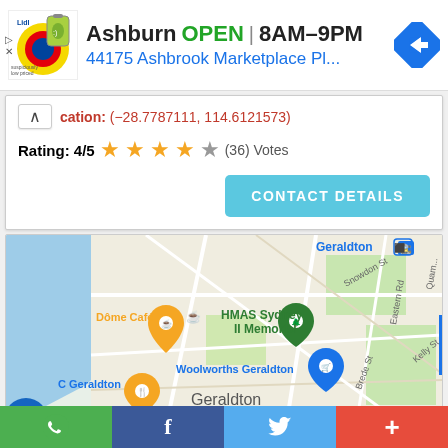[Figure (screenshot): Ad banner showing Lidl store logo, store name Ashburn, OPEN status, hours 8AM-9PM, address 44175 Ashbrook Marketplace Pl..., and navigation arrow icon]
cation: (−28.7787111, 114.6121573)
Rating: 4/5 ★★★★☆ (36) Votes
CONTACT DETAILS
[Figure (map): Google Maps view of Geraldton area showing Dome Cafe, HMAS Sydney II Memorial, Woolworths Geraldton, and other landmarks]
WhatsApp | Facebook | Twitter | +